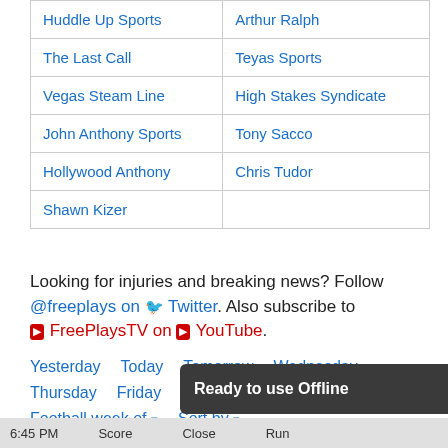| Huddle Up Sports | Arthur Ralph |
| The Last Call | Teyas Sports |
| Vegas Steam Line | High Stakes Syndicate |
| John Anthony Sports | Tony Sacco |
| Hollywood Anthony | Chris Tudor |
| Shawn Kizer |  |
Looking for injuries and breaking news? Follow @freeplays on Twitter. Also subscribe to FreePlaysTV on YouTube.
Yesterday  Today  Tomorrow  Wednesday
Thursday  Friday  Saturday  Select date
Football week of ▾  Sort by ▾
MLB for Tuesday ... National Le...
6:45 PM    Score    Close    Run